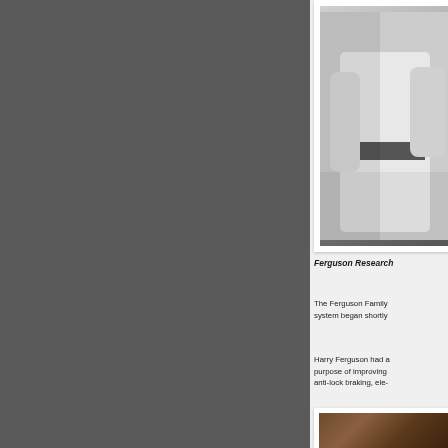[Figure (photo): Black and white photograph of a person, partially visible, wearing white clothing, cropped at edges]
Ferguson Research
The Ferguson Family system began shortly
Harry Ferguson had a purpose of improving anti-lock braking, ele-
[Figure (photo): Partial photograph visible at bottom right, dark earthy tones]